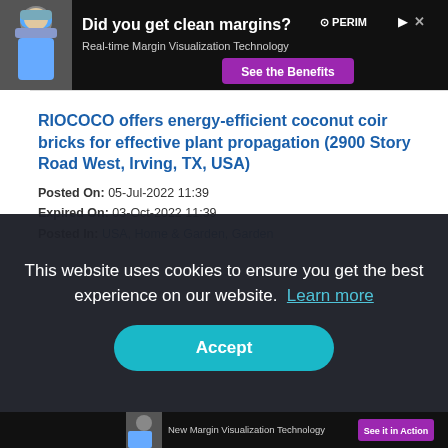[Figure (screenshot): Advertisement banner showing a surgeon with text 'Did you get clean margins? Real-time Margin Visualization Technology' and a purple 'See the Benefits' button with PERIM logo]
RIOCOCO offers energy-efficient coconut coir bricks for effective plant propagation (2900 Story Road West, Irving, TX, USA)
Posted On: 05-Jul-2022 11:39
Expired On: 03-Oct-2022 11:39
Posted In: USA, Home & Garden, Garden
Coconut coir bricks are composed of 100% organic substrates of coco coir that are produced by RICOCOO through super-washable techniques. These coco coir bricks have the
This website uses cookies to ensure you get the best experience on our website. Learn more
Accept
[Figure (screenshot): Bottom advertisement banner repeating surgeon image with 'New Margin Visualization Technology' text and 'See it in Action' purple button]